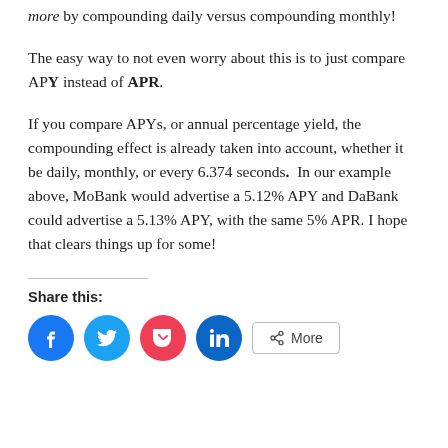more by compounding daily versus compounding monthly!
The easy way to not even worry about this is to just compare APY instead of APR.
If you compare APYs, or annual percentage yield, the compounding effect is already taken into account, whether it be daily, monthly, or every 6.374 seconds. In our example above, MoBank would advertise a 5.12% APY and DaBank could advertise a 5.13% APY, with the same 5% APR. I hope that clears things up for some!
Share this:
[Figure (infographic): Row of social share buttons: Facebook (blue circle), Twitter (light blue circle), Pocket (red/pink circle), LinkedIn (dark blue circle), and a More button with share icon.]